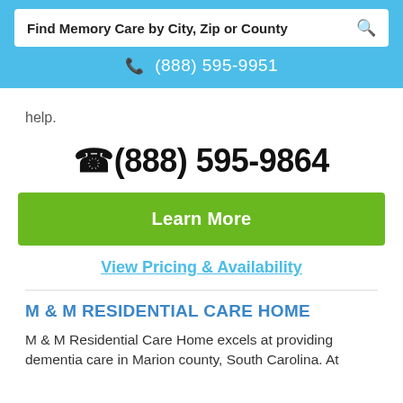Find Memory Care by City, Zip or County | (888) 595-9951
help.
(888) 595-9864
Learn More
View Pricing & Availability
M & M RESIDENTIAL CARE HOME
M & M Residential Care Home excels at providing dementia care in Marion county, South Carolina. At